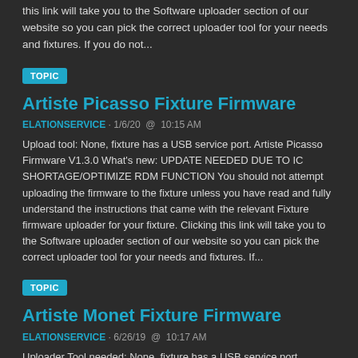this link will take you to the Software uploader section of our website so you can pick the correct uploader tool for your needs and fixtures. If you do not...
TOPIC
Artiste Picasso Fixture Firmware
ELATIONSERVICE · 1/6/20  @  10:15 AM
Upload tool: None, fixture has a USB service port. Artiste Picasso Firmware V1.3.0 What's new: UPDATE NEEDED DUE TO IC SHORTAGE/OPTIMIZE RDM FUNCTION You should not attempt uploading the firmware to the fixture unless you have read and fully understand the instructions that came with the relevant Fixture firmware uploader for your fixture. Clicking this link will take you to the Software uploader section of our website so you can pick the correct uploader tool for your needs and fixtures. If...
TOPIC
Artiste Monet Fixture Firmware
ELATIONSERVICE · 6/26/19  @  10:17 AM
Uploader Tool needed: None, fixture has a USB service port. PLEASE NOTE THERE ARE 2 VERSIONS OF THIS UNIT V1.3.X & 1.4.X. 1.3.X SERIES CAN